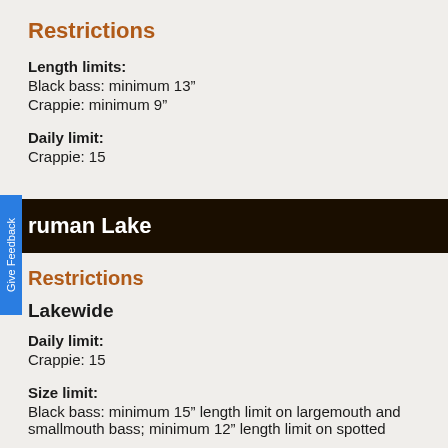Restrictions
Length limits:
Black bass: minimum 13"
Crappie: minimum 9"
Daily limit:
Crappie: 15
ruman Lake
Restrictions
Lakewide
Daily limit:
Crappie: 15
Size limit:
Black bass: minimum 15" length limit on largemouth and smallmouth bass; minimum 12" length limit on spotted